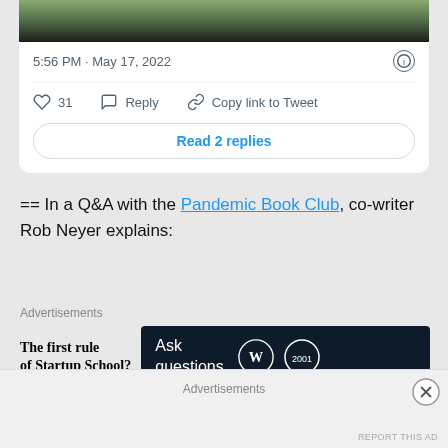[Figure (screenshot): Top portion of tweet card showing a photo of people outdoors, partially cropped at top]
5:56 PM · May 17, 2022
31   Reply   Copy link to Tweet
Read 2 replies
== In a Q&A with the Pandemic Book Club, co-writer Rob Neyer explains:
Advertisements
[Figure (screenshot): Advertisement: left side shows text 'The first rule of Startup School?' and right side shows dark banner 'Ask questions.' with WordPress and another logo]
REPORT THIS AD
What's your book about?
Advertisements
REPORT THIS AD